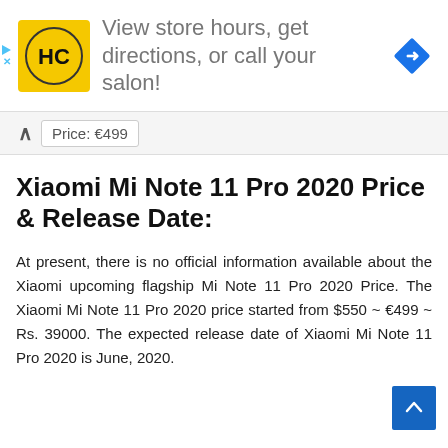[Figure (other): Advertisement banner: HC logo (yellow/black circular logo) with text 'View store hours, get directions, or call your salon!' and a blue navigation/directions diamond icon on the right. Play and close icons on the far left.]
Price: €499
Xiaomi Mi Note 11 Pro 2020 Price & Release Date:
At present, there is no official information available about the Xiaomi upcoming flagship Mi Note 11 Pro 2020 Price. The Xiaomi Mi Note 11 Pro 2020 price started from $550 ~ €499 ~ Rs. 39000. The expected release date of Xiaomi Mi Note 11 Pro 2020 is June, 2020.